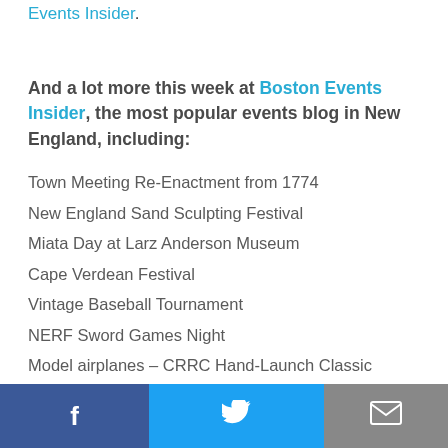Events Insider.
And a lot more this week at Boston Events Insider, the most popular events blog in New England, including:
Town Meeting Re-Enactment from 1774
New England Sand Sculpting Festival
Miata Day at Larz Anderson Museum
Cape Verdean Festival
Vintage Baseball Tournament
NERF Sword Games Night
Model airplanes – CRRC Hand-Launch Classic
Greater New Bedford Summerfest
Glove Puppetry Boot Camp (for Adults)
Fireflies at Audubon
Twilight World of Bats